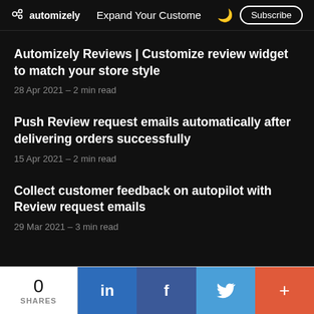automizely | Expand Your Customer… | Subscribe
Automizely Reviews | Customize review widget to match your store style
28 Apr 2021 – 2 min read
Push Review request emails automatically after delivering orders successfully
15 Apr 2021 – 2 min read
Collect customer feedback on autopilot with Review request emails
29 Mar 2021 – 3 min read
0 SHARES | LinkedIn | Facebook | Twitter | +